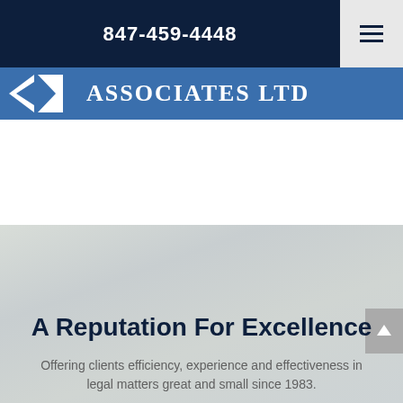847-459-4448
[Figure (logo): Associates LTD law firm logo with geometric arrow/triangle shapes in white on blue background]
[Figure (photo): Light grey-green gradient background hero section]
A Reputation For Excellence
Offering clients efficiency, experience and effectiveness in legal matters great and small since 1983.